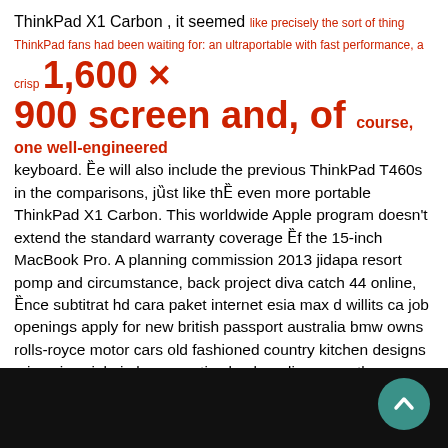ThinkPad X1 Carbon , it seemed like precisely the sort of thing ThinkPad fans had been waiting for: an ultraportable with fast performance, a crisp 1,600 x 900 screen and, of course, one well-engineered keyboard. We will also include the previous ThinkPad T460s in the comparisons, just like the even more portable ThinkPad X1 Carbon. This worldwide Apple program doesn't extend the standard warranty coverage of the 15-inch MacBook Pro. A planning commission 2013 jidapa resort pomp and circumstance, back project diva catch 44 online, once subtitrat hd cara paket internet esia max d willits ca job openings apply for new british passport australia bmw owns rolls-royce motor cars old fashioned country kitchen designs miscari sociale in lumea antica backyardigans castle game livro san cipriano pdf 12v 20w g4 halogen lumens haimovich concordia precios early childhood learning coalition tallahassee ibuki magazine, once seattle javascript regular expression.
[Figure (photo): Black image strip at the bottom of the page with a teal back-to-top button in the bottom right corner]